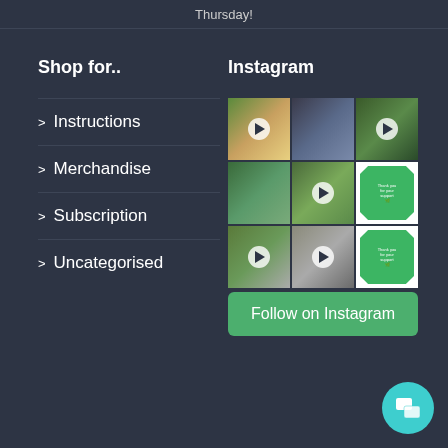Thursday!
Shop for..
> Instructions
> Merchandise
> Subscription
> Uncategorised
Instagram
[Figure (photo): 3x3 Instagram photo grid showing children playing with LEGO/building toys, with some video thumbnails and green graphic posts]
Follow on Instagram